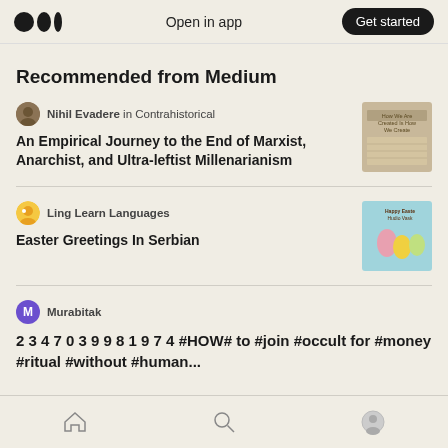Open in app | Get started
Recommended from Medium
Nihil Evadere in Contrahistorical
An Empirical Journey to the End of Marxist, Anarchist, and Ultra-leftist Millenarianism
Ling Learn Languages
Easter Greetings In Serbian
Murabitak
2 3 4 7 0 3 9 9 8 1 9 7 4 #HOW# to #join #occult for #money #ritual #without #human...
Home | Search | Profile